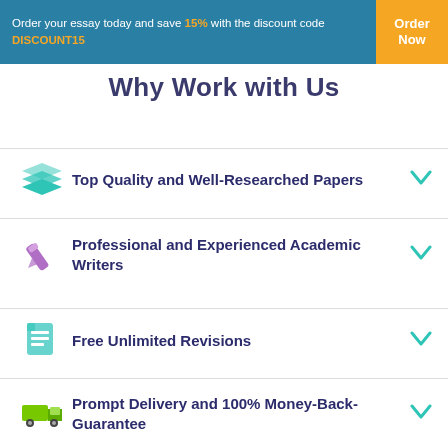Order your essay today and save 15% with the discount code DISCOUNT15 | Order Now
Why Work with Us
Top Quality and Well-Researched Papers
Professional and Experienced Academic Writers
Free Unlimited Revisions
Prompt Delivery and 100% Money-Back-Guarantee